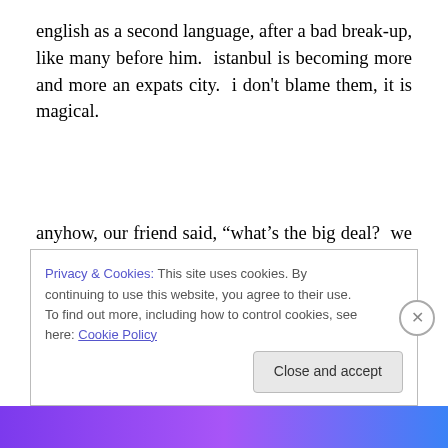english as a second language, after a bad break-up, like many before him.  istanbul is becoming more and more an expats city.  i don't blame them, it is magical.
anyhow, our friend said, “what’s the big deal?  we had such laws in the US forever”.  according to him, apparently americans have they call “blue laws”– each state enacts its own law and prohibits the sale of alcohol after certain
Privacy & Cookies: This site uses cookies. By continuing to use this website, you agree to their use.
To find out more, including how to control cookies, see here: Cookie Policy
Close and accept